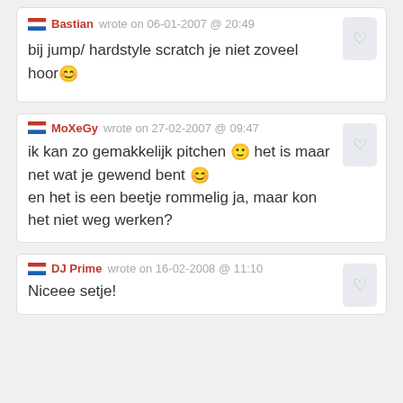Bastian wrote on 06-01-2007 @ 20:49 — bij jump/ hardstyle scratch je niet zoveel hoor
MoXeGy wrote on 27-02-2007 @ 09:47 — ik kan zo gemakkelijk pitchen het is maar net wat je gewend bent en het is een beetje rommelig ja, maar kon het niet weg werken?
DJ Prime wrote on 16-02-2008 @ 11:10 — Niceee setje!